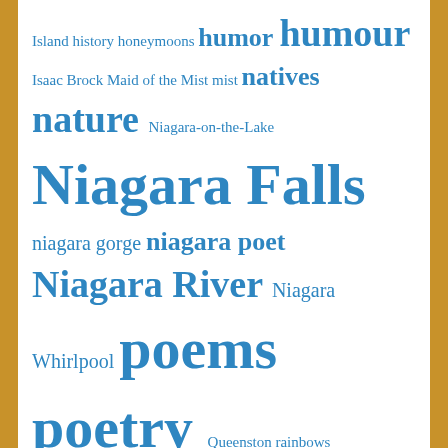Island history honeymoons humor humour Isaac Brock Maid of the Mist mist natives nature Niagara-on-the-Lake Niagara Falls niagara gorge niagara poet Niagara River Niagara Whirlpool poems poetry Queenston rainbows religious Romance Spiritual poems stunters suicide Table Rock Album tourists tourist trade War of 1812 waterfalls
SUBSCRIBE TO BLOG VIA EMAIL
Enter your email address to subscribe to this blog and receive notifications of new posts by email.